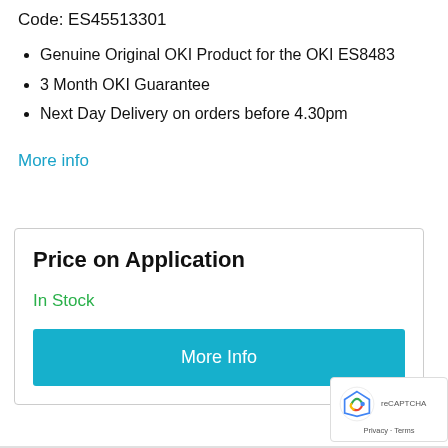Code: ES45513301
Genuine Original OKI Product for the OKI ES8483
3 Month OKI Guarantee
Next Day Delivery on orders before 4.30pm
More info
Price on Application
In Stock
More Info